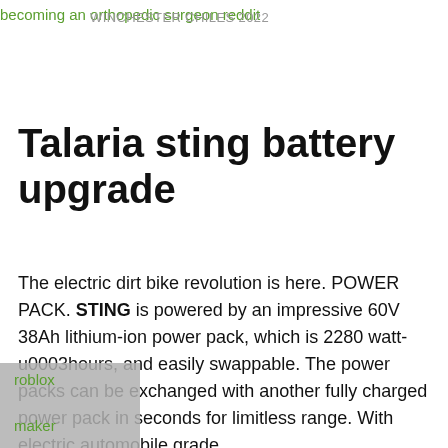becoming an orthopedic surgeon reddit
WINCHESTER CHILES 2022
Talaria sting battery upgrade
The electric dirt bike revolution is here. POWER PACK. STING is powered by an impressive 60V 38Ah lithium-ion power pack, which is 2280 watt-u0003hours, and easily swappable. The power packs can be exchanged with another fully charged power pack in seconds for limitless range. With electric automobile grade
roblox maker